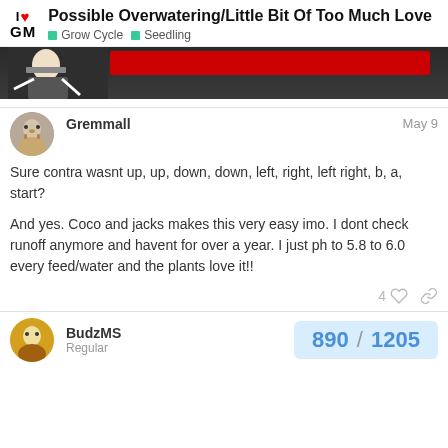I ❤ GM — Possible Overwatering/Little Bit Of Too Much Love | Grow Cycle | Seedling
[Figure (illustration): Dark background banner with a red bar and a cartoon figure illustration]
Gremmall
May 9
Sure contra wasnt up, up, down, down, left, right, left right, b, a, start?

And yes. Coco and jacks makes this very easy imo. I dont check runoff anymore and havent for over a year. I just ph to 5.8 to 6.0 every feed/water and the plants love it!!
BudzMS
Regular
890 / 1205